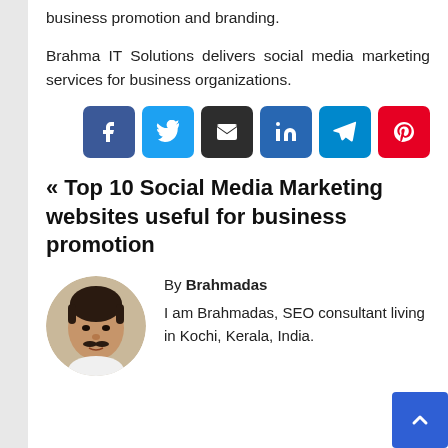business promotion and branding.
Brahma IT Solutions delivers social media marketing services for business organizations.
[Figure (infographic): Social media share buttons row: Facebook (blue), Twitter (light blue), Email (dark/black), LinkedIn (blue), Telegram (teal), Pinterest (red)]
« Top 10 Social Media Marketing websites useful for business promotion
[Figure (photo): Circular profile photo of a man (Brahmadas), Indian appearance, wearing white shirt, dark hair and moustache, outdoors background.]
By Brahmadas
I am Brahmadas, SEO consultant living in Kochi, Kerala, India.